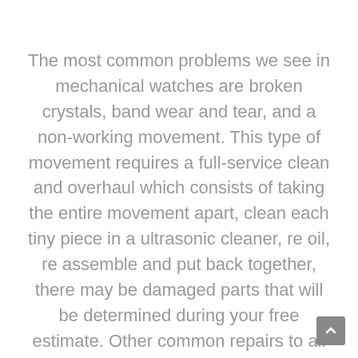The most common problems we see in mechanical watches are broken crystals, band wear and tear, and a non-working movement. This type of movement requires a full-service clean and overhaul which consists of taking the entire movement apart, clean each tiny piece in a ultrasonic cleaner, re oil, re assemble and put back together, there may be damaged parts that will be determined during your free estimate. Other common repairs to all mechanical watches are broken stem and crown, or numbers, markers or hands that have come